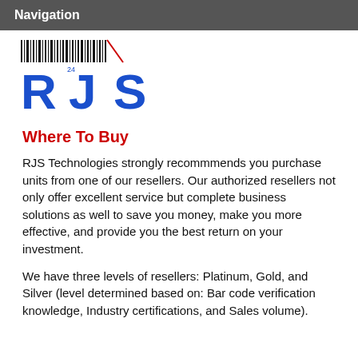Navigation
[Figure (logo): RJS Technologies logo with barcode above and blue stylized 'RJS' letters below]
Where To Buy
RJS Technologies strongly recommmends you purchase units from one of our resellers. Our authorized resellers not only offer excellent service but complete business solutions as well to save you money, make you more effective, and provide you the best return on your investment.
We have three levels of resellers: Platinum, Gold, and Silver (level determined based on: Bar code verification knowledge, Industry certifications, and Sales volume).